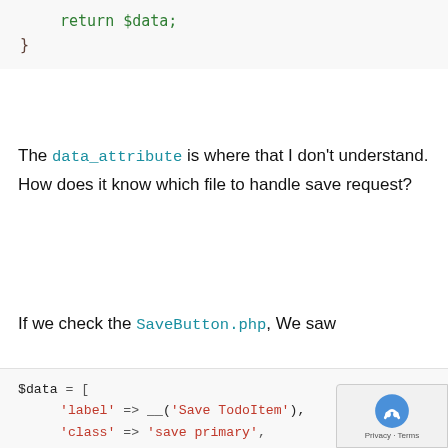return $data;
}
The data_attribute is where that I don't understand. How does it know which file to handle save request?
If we check the SaveButton.php, We saw
$data = [
    'label' => __('Save TodoItem'),
    'class' => 'save primary',
    'data_attribute' => [
        'mage-init' => ['button' =>
        'form-role' => 'save',
    ],